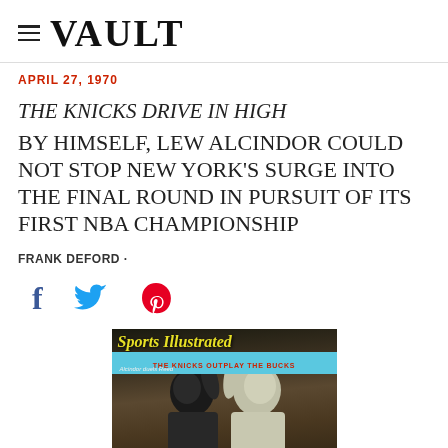≡ VAULT
APRIL 27, 1970
THE KNICKS DRIVE IN HIGH
BY HIMSELF, LEW ALCINDOR COULD NOT STOP NEW YORK'S SURGE INTO THE FINAL ROUND IN PURSUIT OF ITS FIRST NBA CHAMPIONSHIP
FRANK DEFORD ·
[Figure (illustration): Social media share icons: Facebook (f), Twitter (bird), Pinterest (p)]
[Figure (photo): Sports Illustrated magazine cover dated April 27, 1970, showing 'THE KNICKS OUTPLAY THE BUCKS' banner headline, with caption 'Alcindor duels Reed', featuring two basketball players looking upward]